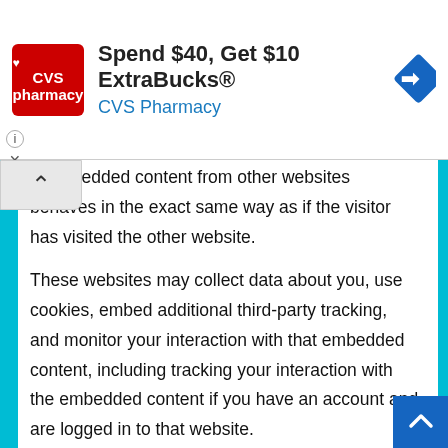[Figure (screenshot): CVS Pharmacy advertisement banner: red CVS pharmacy logo on left, text 'Spend $40, Get $10 ExtraBucks® CVS Pharmacy' in center, blue navigation diamond icon on right]
). Embedded content from other websites behaves in the exact same way as if the visitor has visited the other website.
These websites may collect data about you, use cookies, embed additional third-party tracking, and monitor your interaction with that embedded content, including tracking your interaction with the embedded content if you have an account and are logged in to that website.
Who we share your data with